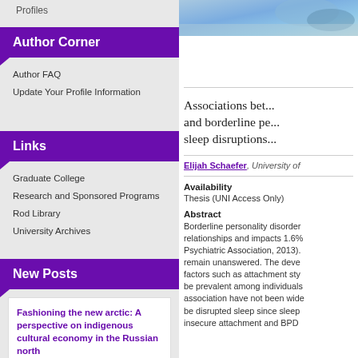Profiles
Author Corner
Author FAQ
Update Your Profile Information
Links
Graduate College
Research and Sponsored Programs
Rod Library
University Archives
New Posts
Fashioning the new arctic: A perspective on indigenous cultural economy in the Russian north
8/15/2022
[Figure (photo): Partial photo visible in top right corner showing what appears to be feathers or fabric in blue/teal tones]
Associations between and borderline personality sleep disruptions
Elijah Schaefer, University of
Availability
Thesis (UNI Access Only)
Abstract
Borderline personality disorder relationships and impacts 1.6% Psychiatric Association, 2013). remain unanswered. The deve factors such as attachment sty be prevalent among individuals association have not been wide be disrupted sleep since sleep insecure attachment and BPD